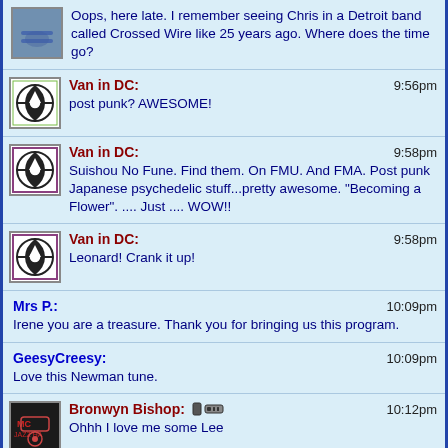Oops, here late. I remember seeing Chris in a Detroit band called Crossed Wire like 25 years ago. Where does the time go?
Van in DC: 9:56pm — post punk? AWESOME!
Van in DC: 9:58pm — Suishou No Fune. Find them. On FMU. And FMA. Post punk Japanese psychedelic stuff...pretty awesome. "Becoming a Flower". .... Just .... WOW!!
Van in DC: 9:58pm — Leonard! Crank it up!
Mrs P.: 10:09pm — Irene you are a treasure. Thank you for bringing us this program.
GeesyCreesy: 10:09pm — Love this Newman tune.
Bronwyn Bishop: 10:12pm — Ohhh I love me some Lee
Wendy do! 10:14pm